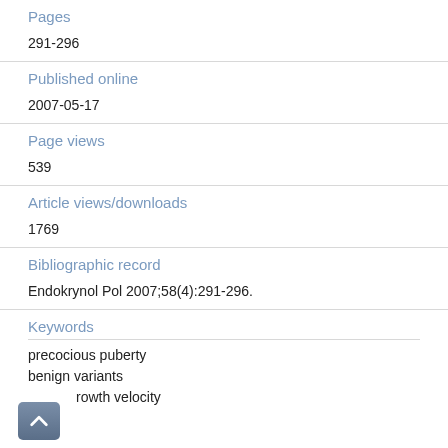Pages
291-296
Published online
2007-05-17
Page views
539
Article views/downloads
1769
Bibliographic record
Endokrynol Pol 2007;58(4):291-296.
Keywords
precocious puberty
benign variants
growth velocity